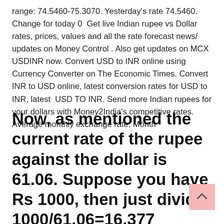range: 74.5460-75.3070. Yesterday's rate 74.5460. Change for today 0  Get live Indian rupee vs Dollar rates, prices, values and all the rate forecast news/ updates on Money Control . Also get updates on MCX USDINR now. Convert USD to INR online using Currency Converter on The Economic Times. Convert INR to USD online, latest conversion rates for USD to INR, latest  USD TO INR. Send more Indian rupees for your dollars with Money2India's competitive rates. Average monthly exchange rate: Month
Now, as mentioned the current rate of the rupee against the dollar is 61.06. Suppose you have Rs 1000, then just divide 1000/61.06=16.377 dollars.